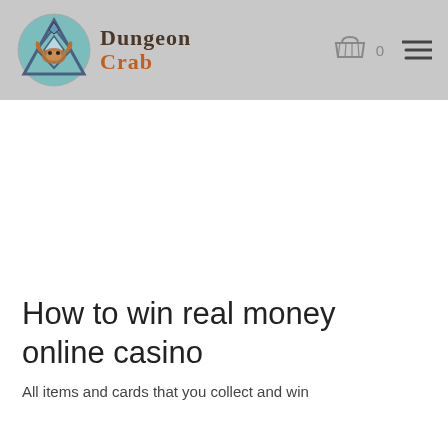Dungeon Crab — website header with logo, cart icon (0), and hamburger menu
How to win real money online casino
All items and cards that you collect and win